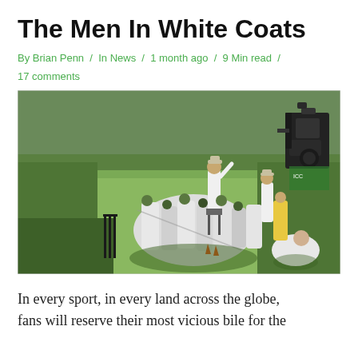The Men In White Coats
By Brian Penn  /  In News  /  1 month ago  /  9 Min read  /  17 comments
[Figure (photo): Cricket players in white uniforms celebrating on the field. An umpire with raised finger stands on a raised platform. Cricket stumps visible in the foreground. Camera equipment visible in background.]
In every sport, in every land across the globe, fans will reserve their most vicious bile for the